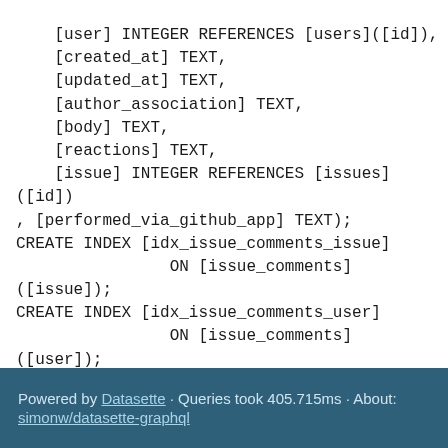[user] INTEGER REFERENCES [users]([id]),
    [created_at] TEXT,
    [updated_at] TEXT,
    [author_association] TEXT,
    [body] TEXT,
    [reactions] TEXT,
    [issue] INTEGER REFERENCES [issues]([id])
, [performed_via_github_app] TEXT);
CREATE INDEX [idx_issue_comments_issue]
                ON [issue_comments]
([issue]);
CREATE INDEX [idx_issue_comments_user]
                ON [issue_comments]
([user]);
Powered by Datasette · Queries took 405.715ms · About: simonw/datasette-graphql